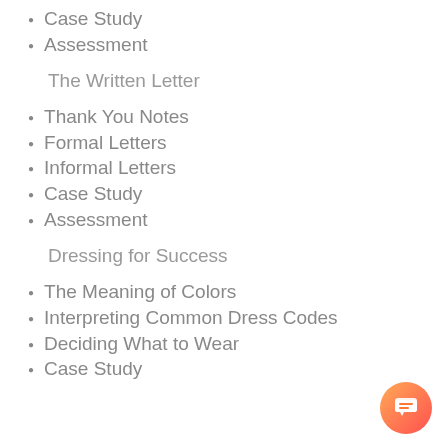Case Study
Assessment
The Written Letter
Thank You Notes
Formal Letters
Informal Letters
Case Study
Assessment
Dressing for Success
The Meaning of Colors
Interpreting Common Dress Codes
Deciding What to Wear
Case Study